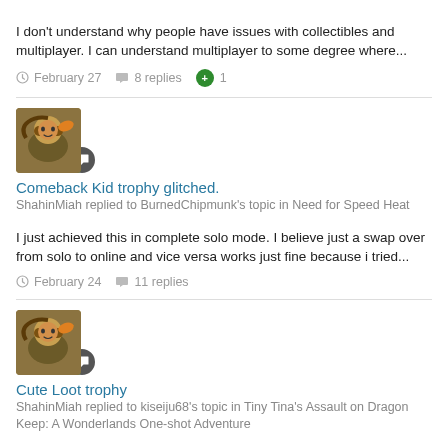I don't understand why people have issues with collectibles and multiplayer. I can understand multiplayer to some degree where...
February 27  8 replies  +1
[Figure (illustration): User avatar with chat badge icon]
Comeback Kid trophy glitched.
ShahinMiah replied to BurnedChipmunk's topic in Need for Speed Heat
I just achieved this in complete solo mode. I believe just a swap over from solo to online and vice versa works just fine because i tried...
February 24  11 replies
[Figure (illustration): User avatar with chat badge icon]
Cute Loot trophy
ShahinMiah replied to kiseiju68's topic in Tiny Tina's Assault on Dragon Keep: A Wonderlands One-shot Adventure